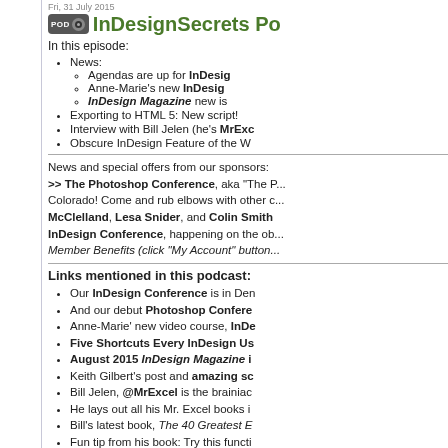Fri, 31 July 2015
InDesignSecrets Po...
In this episode:
News:
Agendas are up for InDesign...
Anne-Marie's new InDesign...
InDesign Magazine new is...
Exporting to HTML 5: New script!
Interview with Bill Jelen (he's MrExc...
Obscure InDesign Feature of the W...
News and special offers from our sponsors: >> The Photoshop Conference, aka "The P... Colorado! Come and rub elbows with other c... McClelland, Lesa Snider, and Colin Smith... InDesign Conference, happening on the ob... Member Benefits (click "My Account" button...
Links mentioned in this podcast:
Our InDesign Conference is in Den...
And our debut Photoshop Confere...
Anne-Marie' new video course, InDe...
Five Shortcuts Every InDesign Us...
August 2015 InDesign Magazine i...
Keith Gilbert's post and amazing sc...
Bill Jelen, @MrExcel is the brainiac...
He lays out all his Mr. Excel books i...
Bill's latest book, The 40 Greatest E...
Fun tip from his book: Try this functi...
Hey we know a little about Excel too...
Easier importing of compl...
Drag and drop to Excel...